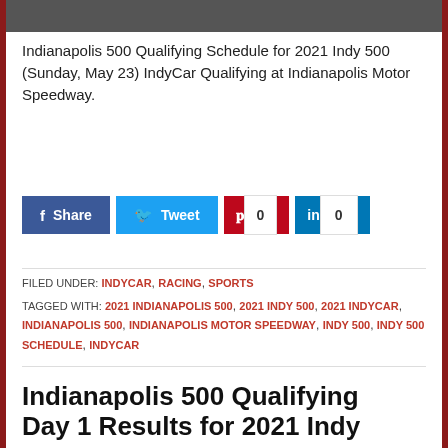[Figure (photo): Top strip of a dark/grey image, partially visible at the top of the page (appears to be a racing track or car photo)]
Indianapolis 500 Qualifying Schedule for 2021 Indy 500 (Sunday, May 23) IndyCar Qualifying at Indianapolis Motor Speedway.
Share | Tweet | 0 | 0 (social share buttons)
FILED UNDER: INDYCAR, RACING, SPORTS
TAGGED WITH: 2021 INDIANAPOLIS 500, 2021 INDY 500, 2021 INDYCAR, INDIANAPOLIS 500, INDIANAPOLIS MOTOR SPEEDWAY, INDY 500, INDY 500 SCHEDULE, INDYCAR
Indianapolis 500 Qualifying Day 1 Results for 2021 Indy